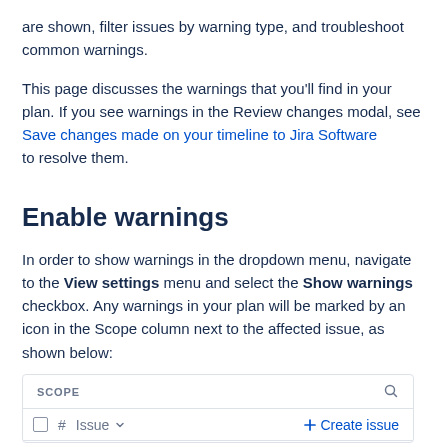are shown, filter issues by warning type, and troubleshoot common warnings.
This page discusses the warnings that you'll find in your plan. If you see warnings in the Review changes modal, see Save changes made on your timeline to Jira Software to resolve them.
Enable warnings
In order to show warnings in the dropdown menu, navigate to the View settings menu and select the Show warnings checkbox. Any warnings in your plan will be marked by an icon in the Scope column next to the affected issue, as shown below:
[Figure (screenshot): Screenshot of a Scope panel header showing SCOPE label with search icon, a checkbox, hash symbol, Issue dropdown, and + Create issue button]